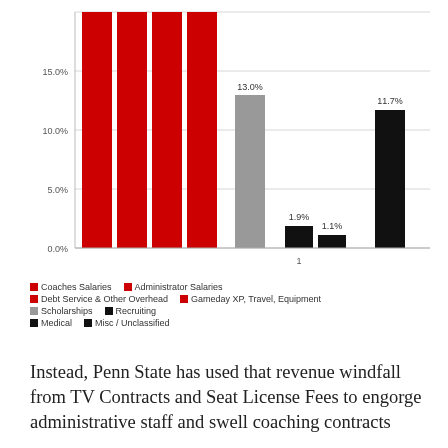[Figure (bar-chart): ]
Instead, Penn State has used that revenue windfall from TV Contracts and Seat License Fees to engorge administrative staff and swell coaching contracts